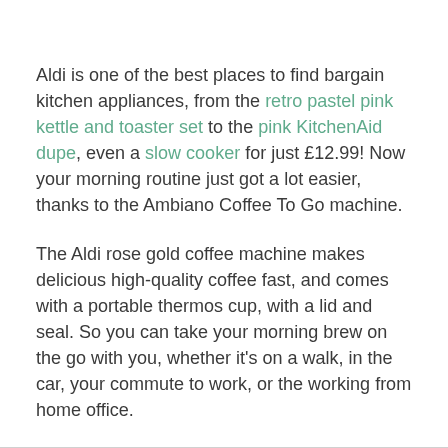Aldi is one of the best places to find bargain kitchen appliances, from the retro pastel pink kettle and toaster set to the pink KitchenAid dupe, even a slow cooker for just £12.99! Now your morning routine just got a lot easier, thanks to the Ambiano Coffee To Go machine.
The Aldi rose gold coffee machine makes delicious high-quality coffee fast, and comes with a portable thermos cup, with a lid and seal. So you can take your morning brew on the go with you, whether it's on a walk, in the car, your commute to work, or the working from home office.